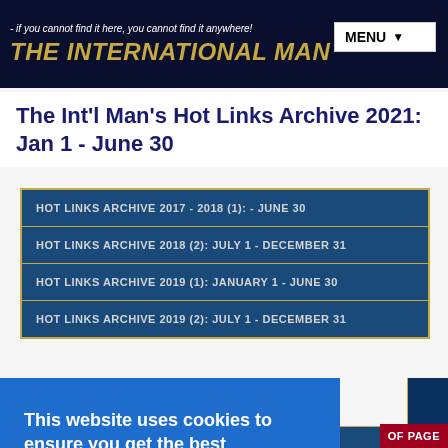- if you cannot find it here, you cannot find it anywhere! THE INTERNATIONAL MAN
The Int'l Man's Hot Links Archive 2021: Jan 1 - June 30
| HOT LINKS ARCHIVE 2017 - 2018 (1): - JUNE 30 |
| HOT LINKS ARCHIVE 2018 (2): JULY 1 - DECEMBER 31 |
| HOT LINKS ARCHIVE 2019 (1): JANUARY 1 - JUNE 30 |
| HOT LINKS ARCHIVE 2019 (2): JULY 1 - DECEMBER 31 |
| HOT LINKS ARCHIVE 2022 (2): JULY 1 - |
This website uses cookies to ensure you get the best experience on our website. Learn more Got it!